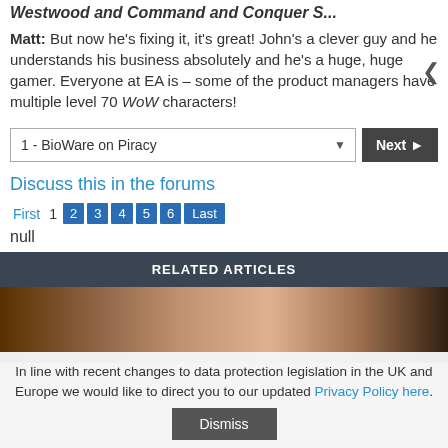Westwood and Command and Conquer S...
Matt: But now he's fixing it, it's great! John's a clever guy and he understands his business absolutely and he's a huge, huge gamer. Everyone at EA is – some of the product managers have multiple level 70 WoW characters!
1 - BioWare on Piracy | Next
Discuss this in the forums
First 1 2 3 4 5 6 Last
null
RELATED ARTICLES
[Figure (photo): Dark cinematic screenshot from a video game showing characters in low lighting]
In line with recent changes to data protection legislation in the UK and Europe we would like to direct you to our updated Privacy Policy here.
Dismiss